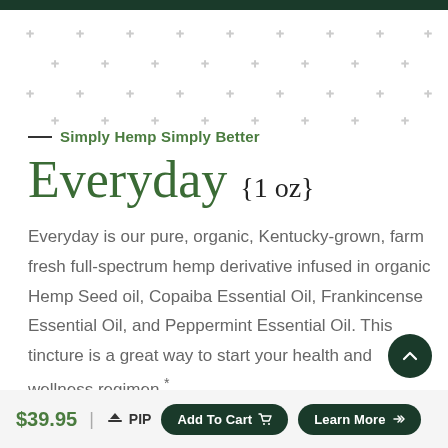Simply Hemp Simply Better
Everyday {1 oz}
Everyday is our pure, organic, Kentucky-grown, farm fresh full-spectrum hemp derivative infused in organic Hemp Seed oil, Copaiba Essential Oil, Frankincense Essential Oil, and Peppermint Essential Oil. This tincture is a great way to start your health and wellness regimen.*
$39.95 | PIP   Add To Cart   Learn More